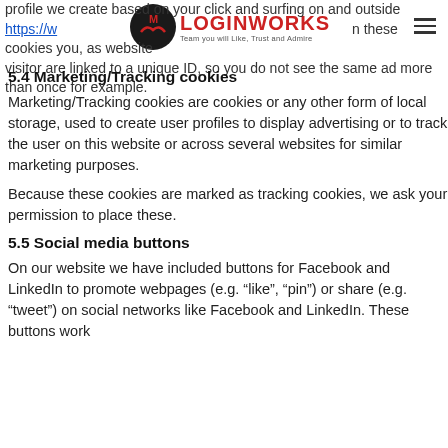profile we create based on your click and surfing on and outside https://www.loginworks.com these cookies you, as website visitor are linked to a unique ID, so you do not see the same ad more than once for example.
5.4 Marketing/Tracking cookies
Marketing/Tracking cookies are cookies or any other form of local storage, used to create user profiles to display advertising or to track the user on this website or across several websites for similar marketing purposes.
Because these cookies are marked as tracking cookies, we ask your permission to place these.
5.5 Social media buttons
On our website we have included buttons for Facebook and LinkedIn to promote webpages (e.g. “like”, “pin”) or share (e.g. “tweet”) on social networks like Facebook and LinkedIn. These buttons work